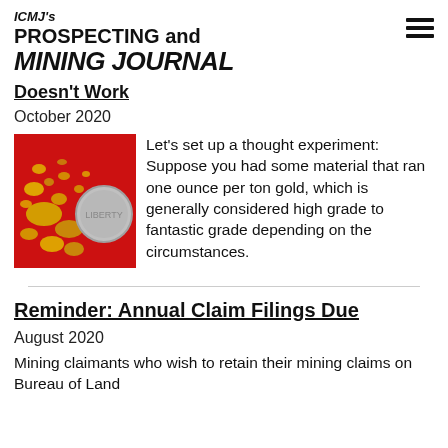ICMJ's PROSPECTING and MINING JOURNAL
Doesn't Work
October 2020
[Figure (photo): Gold nuggets and flakes on a red background next to a coin]
Let's set up a thought experiment: Suppose you had some material that ran one ounce per ton gold, which is generally considered high grade to fantastic grade depending on the circumstances.
Reminder: Annual Claim Filings Due
August 2020
Mining claimants who wish to retain their mining claims on Bureau of Land